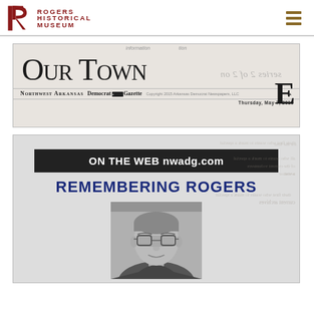Rogers Historical Museum
[Figure (screenshot): Scanned newspaper masthead: Our Town E, Northwest Arkansas Democrat Gazette, Thursday, May 7, 2015]
[Figure (screenshot): Scanned newspaper clipping showing 'ON THE WEB nwadg.com' dark banner and 'REMEMBERING ROGERS' headline in blue bold text, with a black and white portrait photo of a man with glasses below]